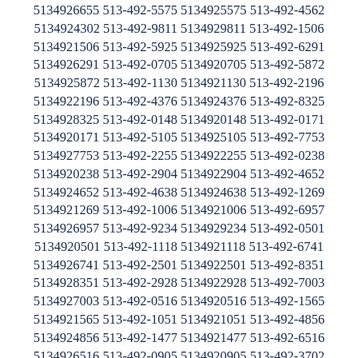5134926655 513-492-5575 5134925575 513-492-4562 5134924302 513-492-9811 5134929811 513-492-1506 5134921506 513-492-5925 5134925925 513-492-6291 5134926291 513-492-0705 5134920705 513-492-5872 5134925872 513-492-1130 5134921130 513-492-2196 5134922196 513-492-4376 5134924376 513-492-8325 5134928325 513-492-0148 5134920148 513-492-0171 5134920171 513-492-5105 5134925105 513-492-7753 5134927753 513-492-2255 5134922255 513-492-0238 5134920238 513-492-2904 5134922904 513-492-4652 5134924652 513-492-4638 5134924638 513-492-1269 5134921269 513-492-1006 5134921006 513-492-6957 5134926957 513-492-9234 5134929234 513-492-0501 5134920501 513-492-1118 5134921118 513-492-6741 5134926741 513-492-2501 5134922501 513-492-8351 5134928351 513-492-2928 5134922928 513-492-7003 5134927003 513-492-0516 5134920516 513-492-1565 5134921565 513-492-1051 5134921051 513-492-4856 5134924856 513-492-1477 5134921477 513-492-6516 5134926516 513-492-0905 5134920905 513-492-3702 5134923702 513-492-8905 5134928905 513-492-1143 5134921143 513-492-9572 5134929572 513-492-1971 5134921971 513-492-5074 5134925074 513-492-0237 5134920237 513-492-9632 5134929632 513-492-7728 5134927728 513-492-0581 5134920581 513-492-8446 5134928446 513-492-6905 5134926905 513-492-6821